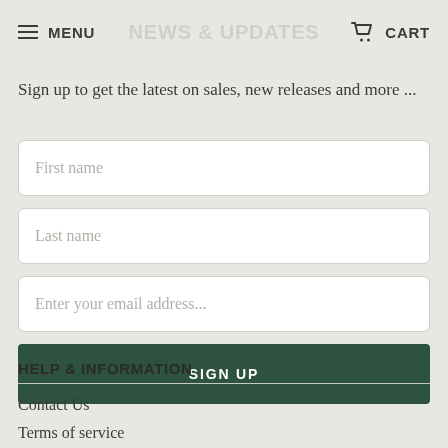MENU  NEWS & UPDATES  CART
Sign up to get the latest on sales, new releases and more ...
[Figure (screenshot): Web form with First name, Last name, Enter your email address input fields and a SIGN UP button]
HELP & INFORMATION
Contact Us
Terms of service